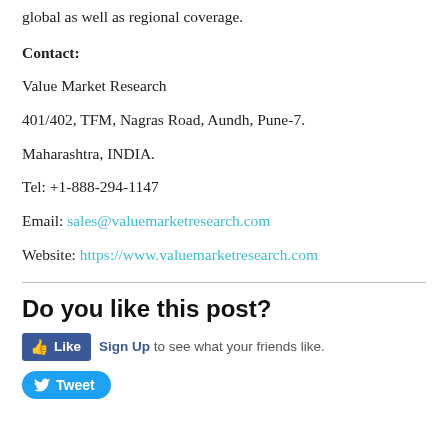global as well as regional coverage.
Contact:
Value Market Research
401/402, TFM, Nagras Road, Aundh, Pune-7.
Maharashtra, INDIA.
Tel: +1-888-294-1147
Email: sales@valuemarketresearch.com
Website: https://www.valuemarketresearch.com
Do you like this post?
Like  Sign Up to see what your friends like.
Tweet